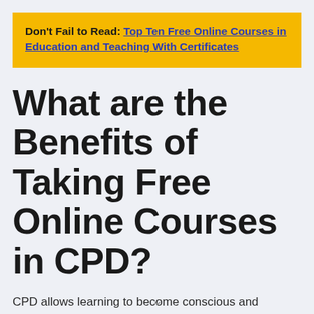Don't Fail to Read: Top Ten Free Online Courses in Education and Teaching With Certificates
What are the Benefits of Taking Free Online Courses in CPD?
CPD allows learning to become conscious and